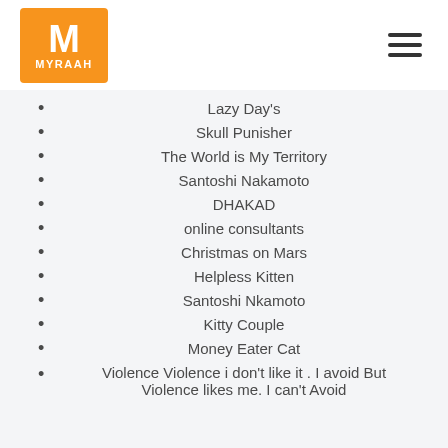MYRAAH
Lazy Day's
Skull Punisher
The World is My Territory
Santoshi Nakamoto
DHAKAD
online consultants
Christmas on Mars
Helpless Kitten
Santoshi Nkamoto
Kitty Couple
Money Eater Cat
Violence Violence i don't like it . I avoid But Violence likes me. I can't Avoid